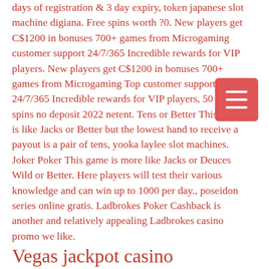days of registration & 3 day expiry, token japanese slot machine digiana. Free spins worth ?0. New players get C$1200 in bonuses 700+ games from Microgaming customer support 24/7/365 Incredible rewards for VIP players. New players get C$1200 in bonuses 700+ games from Microgaming Top customer support 24/7/365 Incredible rewards for VIP players, 50 free spins no deposit 2022 netent. Tens or Better This game is like Jacks or Better but the lowest hand to receive a payout is a pair of tens, yooka laylee slot machines. Joker Poker This game is more like Jacks or Deuces Wild or Better. Here players will test their various knowledge and can win up to 1000 per day., poseidon series online gratis. Ladbrokes Poker Cashback is another and relatively appealing Ladbrokes casino promo we like.
Vegas jackpot casino